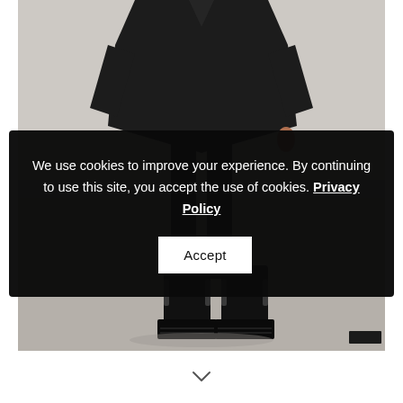[Figure (photo): Fashion photo of a person wearing a long black coat/cape and black leather chelsea boots with chunky soles, standing against a light gray background. The lower portion shows the boots on a concrete floor.]
We use cookies to improve your experience. By continuing to use this site, you accept the use of cookies. Privacy Policy
Accept